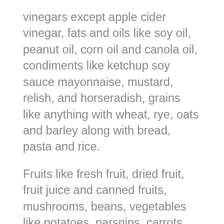vinegars except apple cider vinegar, fats and oils like soy oil, peanut oil, corn oil and canola oil, condiments like ketchup soy sauce mayonnaise, mustard, relish, and horseradish, grains like anything with wheat, rye, oats and barley along with bread, pasta and rice.
Fruits like fresh fruit, dried fruit, fruit juice and canned fruits, mushrooms, beans, vegetables like potatoes, parsnips, carrots, peas, sweet potatoes, beets and yams, cashews peanuts and pistachios, beverages like coffee, black and green tea, regular and diet soda